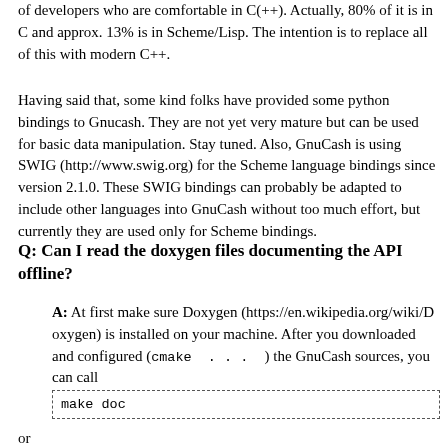of developers who are comfortable in C(++). Actually, 80% of it is in C and approx. 13% is in Scheme/Lisp. The intention is to replace all of this with modern C++.
Having said that, some kind folks have provided some python bindings to Gnucash. They are not yet very mature but can be used for basic data manipulation. Stay tuned. Also, GnuCash is using SWIG (http://www.swig.org) for the Scheme language bindings since version 2.1.0. These SWIG bindings can probably be adapted to include other languages into GnuCash without too much effort, but currently they are used only for Scheme bindings.
Q: Can I read the doxygen files documenting the API offline?
A: At first make sure Doxygen (https://en.wikipedia.org/wiki/Doxygen) is installed on your machine. After you downloaded and configured (cmake . . . ) the GnuCash sources, you can call
make doc
or